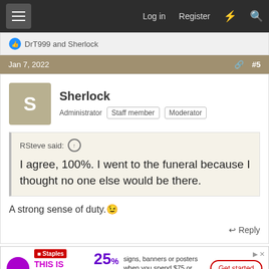Log in  Register
DrT999 and Sherlock
Jan 7, 2022  #5
Sherlock
Administrator  Staff member  Moderator
RSteve said: ↑  I agree, 100%. I went to the funeral because I thought no one else would be there.
A strong sense of duty. 😉
Reply
[Figure (screenshot): Staples advertisement banner: THIS IS YOUR SIGN, 25% off signs, banners or posters when you spend $75 or more. Get started button.]